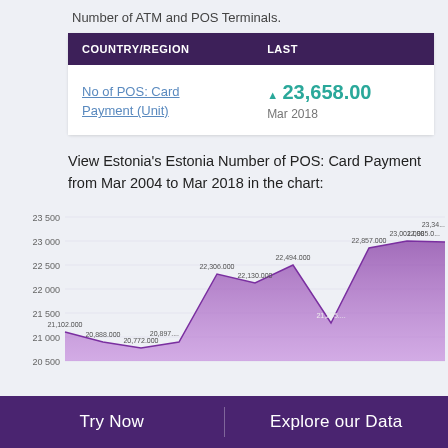Number of ATM and POS Terminals.
| COUNTRY/REGION | LAST |
| --- | --- |
| No of POS: Card Payment (Unit) | ▲ 23,658.00
Mar 2018 |
View Estonia's Estonia Number of POS: Card Payment from Mar 2004 to Mar 2018 in the chart:
[Figure (area-chart): Estonia Number of POS: Card Payment]
Try Now   Explore our Data